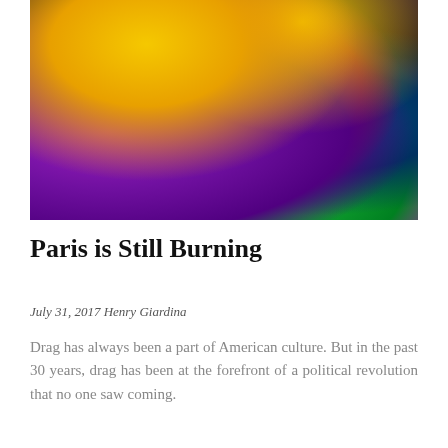[Figure (photo): Colorful stylized photo of a drag performer with vivid neon colors — yellow, magenta, purple, green — holding a wide-brimmed black hat, with intricate patterned details visible.]
Paris is Still Burning
July 31, 2017 Henry Giardina
Drag has always been a part of American culture. But in the past 30 years, drag has been at the forefront of a political revolution that no one saw coming.